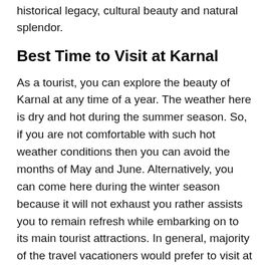historical legacy, cultural beauty and natural splendor.
Best Time to Visit at Karnal
As a tourist, you can explore the beauty of Karnal at any time of a year. The weather here is dry and hot during the summer season. So, if you are not comfortable with such hot weather conditions then you can avoid the months of May and June. Alternatively, you can come here during the winter season because it will not exhaust you rather assists you to remain refresh while embarking on to its main tourist attractions. In general, majority of the travel vacationers would prefer to visit at Karnal during the months of October or November and February or March.
Helpline and Important Contact